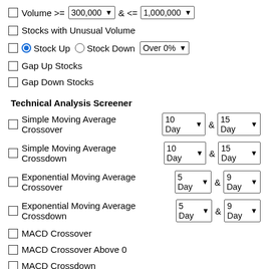Volume >= 300,000 & <= 1,000,000
Stocks with Unusual Volume
Stock Up  Stock Down  Over 0%
Gap Up Stocks
Gap Down Stocks
Technical Analysis Screener
Simple Moving Average Crossover  10 Day & 15 Day
Simple Moving Average Crossdown  10 Day & 15 Day
Exponential Moving Average Crossover  5 Day & 9 Day
Exponential Moving Average Crossdown  5 Day & 9 Day
MACD Crossover
MACD Crossover Above 0
MACD Crossdown